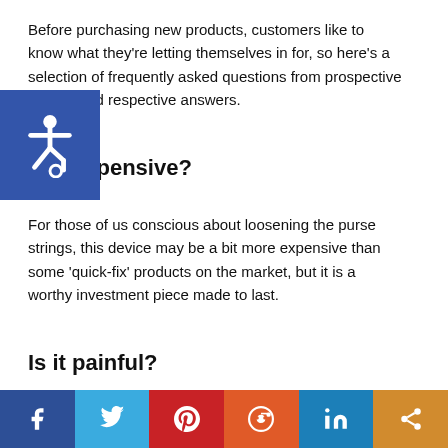Before purchasing new products, customers like to know what they're letting themselves in for, so here's a selection of frequently asked questions from prospective clients, and respective answers.
Is it expensive?
For those of us conscious about loosening the purse strings, this device may be a bit more expensive than some 'quick-fix' products on the market, but it is a worthy investment piece made to last.
Is it painful?